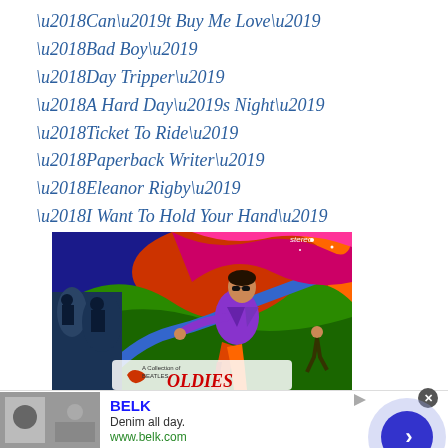‘Can’t Buy Me Love’
‘Bad Boy’
‘Day Tripper’
‘A Hard Day’s Night’
‘Ticket To Ride’
‘Paperback Writer’
‘Eleanor Rigby’
‘I Want To Hold Your Hand’
[Figure (illustration): Colourful psychedelic album cover illustration featuring a stylized figure in a purple suit with striped flared trousers in a lounge pose, surrounded by vibrant orange, red, green, and blue swirling background. Text reads 'A Collection of Beatles Oldies' with 'stereo' in top right corner.]
BELK
Denim all day.
www.belk.com